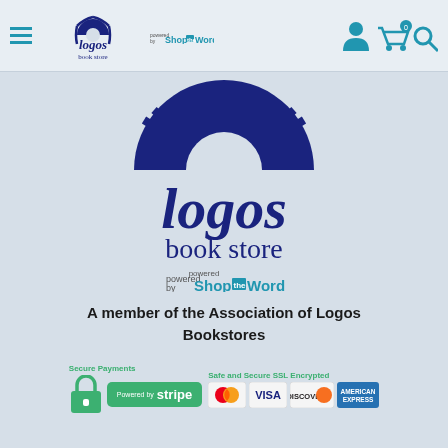[Figure (logo): Navigation bar with hamburger menu, Logos Book Store small logo with ShopTheWord, and user/cart/search icons in cyan/teal]
[Figure (logo): Large Logos Book Store logo with sunburst design, dark navy blue, powered by ShopTheWord]
A member of the Association of Logos Bookstores
[Figure (infographic): Secure Payments powered by Stripe badge (green), Safe and Secure SSL Encrypted with MasterCard, VISA, Discover, American Express card logos]